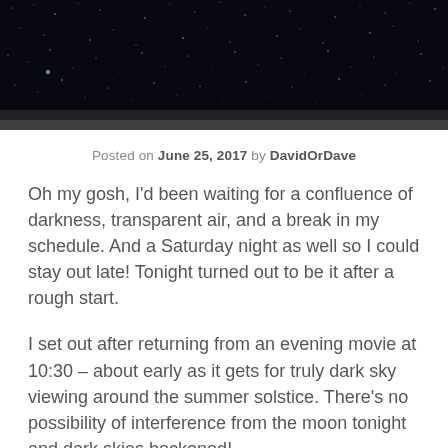[Figure (photo): Night sky photograph showing stars on a dark background with a slightly lighter gray strip along the bottom edge.]
Posted on June 25, 2017 by DavidOrDave
Oh my gosh, I'd been waiting for a confluence of darkness, transparent air, and a break in my schedule. And a Saturday night as well so I could stay out late! Tonight turned out to be it after a rough start.
I set out after returning from an evening movie at 10:30 – about early as it gets for truly dark sky viewing around the summer solstice. There's no possibility of interference from the moon tonight and dark skies beckoned!